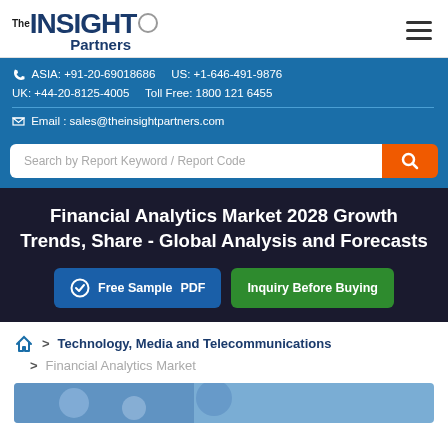The INSIGHT Partners
ASIA: +91-20-69018686   US: +1-646-491-9876
UK: +44-20-8125-4005   Toll Free: 1800 121 6455
Email : sales@theinsightpartners.com
Search by Report Keyword / Report Code
Financial Analytics Market 2028 Growth Trends, Share - Global Analysis and Forecasts
Free Sample PDF   Inquiry Before Buying
> Technology, Media and Telecommunications > Financial Analytics Market
[Figure (photo): Partial view of a market research report cover image with blue tones]